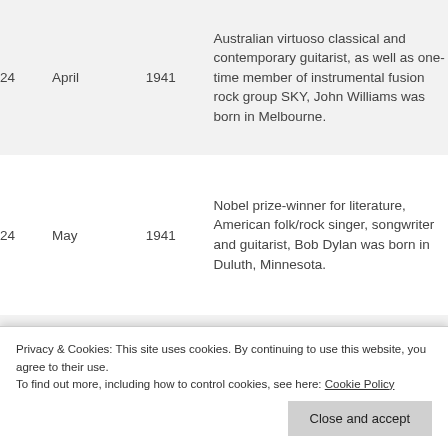| Day | Month | Year | Description |
| --- | --- | --- | --- |
| 24 | April | 1941 | Australian virtuoso classical and contemporary guitarist, as well as one-time member of instrumental fusion rock group SKY, John Williams was born in Melbourne. |
| 24 | May | 1941 | Nobel prize-winner for literature, American folk/rock singer, songwriter and guitarist, Bob Dylan was born in Duluth, Minnesota. |
|  |  |  | Influential country/blues/rock guitarist and singer songwriter... |
Privacy & Cookies: This site uses cookies. By continuing to use this website, you agree to their use. To find out more, including how to control cookies, see here: Cookie Policy